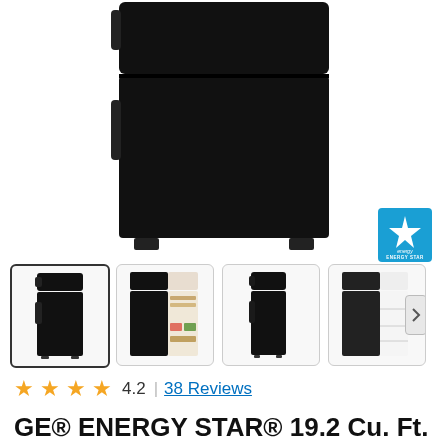[Figure (photo): Main product photo of GE black top-freezer refrigerator, front view closed, on white background]
[Figure (logo): Energy Star certification badge - blue square with Energy Star logo and text]
[Figure (photo): Thumbnail 1: Black top-freezer refrigerator closed front view (selected/highlighted)]
[Figure (photo): Thumbnail 2: Black top-freezer refrigerator open showing interior with food]
[Figure (photo): Thumbnail 3: Black top-freezer refrigerator side angle closed view]
[Figure (photo): Thumbnail 4: Black top-freezer refrigerator open showing interior shelves (silver/white interior)]
4.2  |  38 Reviews
GE® ENERGY STAR® 19.2 Cu. Ft. Top-Freezer Refrigerator